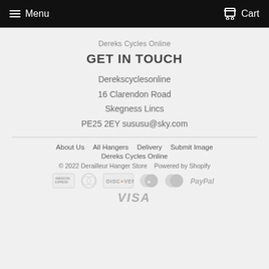Menu   Cart
Dereks Cycles Online
GET IN TOUCH
Derekscyclesonline
16 Clarendon Road
Skegness Lincs
PE25 2EY sususu@sky.com
About Us
All Hangers
Delivery
Submit Image
Dereks Cycles Online
© 2022 Derailleur Hanger Store   Powered by Shopify